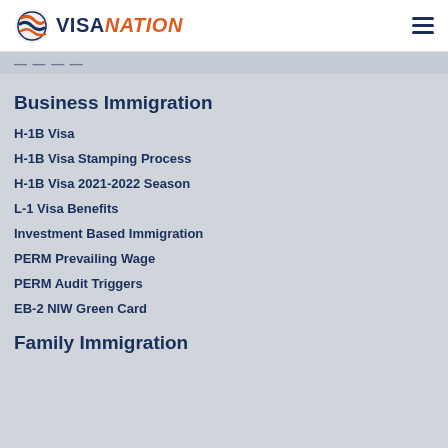VISANATION
Business Immigration
H-1B Visa
H-1B Visa Stamping Process
H-1B Visa 2021-2022 Season
L-1 Visa Benefits
Investment Based Immigration
PERM Prevailing Wage
PERM Audit Triggers
EB-2 NIW Green Card
Family Immigration